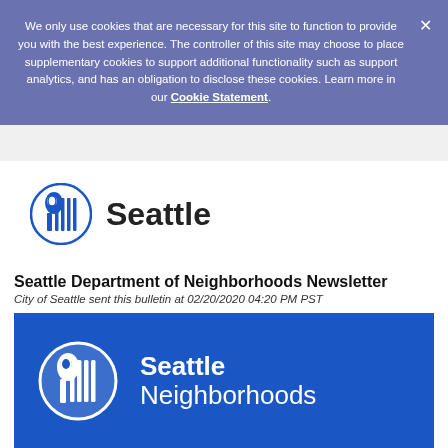We only use cookies that are necessary for this site to function to provide you with the best experience. The controller of this site may choose to place supplementary cookies to support additional functionality such as support analytics, and has an obligation to disclose these cookies. Learn more in our Cookie Statement.
[Figure (logo): City of Seattle logo — circular emblem with profile face and vertical lines, in blue, followed by bold text 'Seattle']
Seattle Department of Neighborhoods Newsletter
City of Seattle sent this bulletin at 02/20/2020 04:20 PM PST
[Figure (logo): Blue banner with City of Seattle circular logo in white and text 'Seattle Neighborhoods' in white]